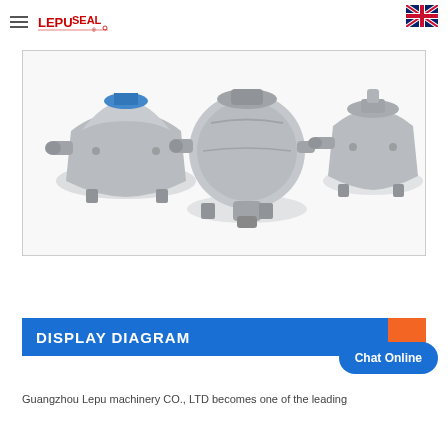LEPUSEAL logo and navigation header
[Figure (photo): Three stainless steel mechanical pump/valve assemblies shown side by side against a white background inside a bordered container]
DISPLAY DIAGRAM
Chat Online
Guangzhou Lepu machinery CO., LTD becomes one of the leading